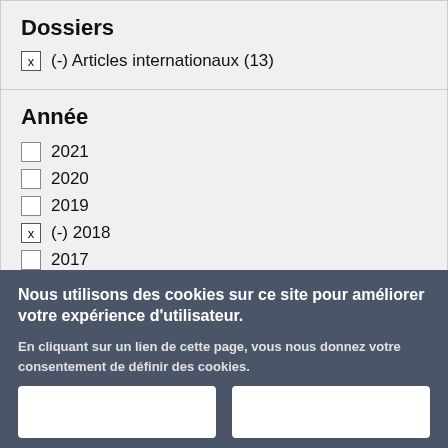Dossiers
x (-) Articles internationaux (13)
Année
2021
2020
2019
x (-) 2018
2017
2016
Nous utilisons des cookies sur ce site pour améliorer votre expérience d'utilisateur.
En cliquant sur un lien de cette page, vous nous donnez votre consentement de définir des cookies.